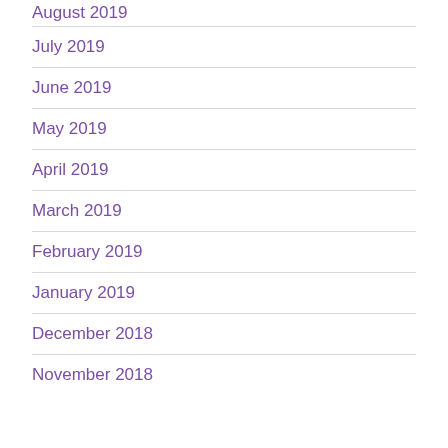August 2019
July 2019
June 2019
May 2019
April 2019
March 2019
February 2019
January 2019
December 2018
November 2018